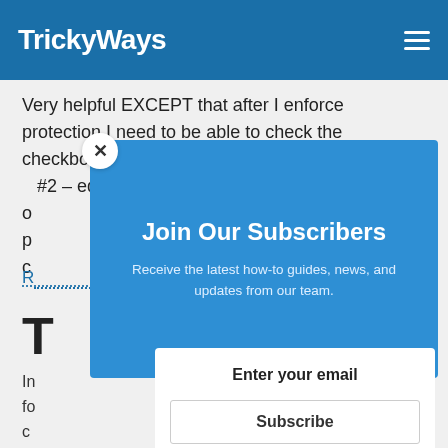TrickyWays
Very helpful EXCEPT that after I enforce protection I need to be able to check the checkboxes AND edit the rest of the document, #2 – editing restrictions, only let's me choose o p c
R
T
In fo c h
[Figure (screenshot): Blue modal popup overlay with title 'Join Our Subscribers', subtitle 'Receive the latest how-to guides, news, and updates from our team.', a close (X) button, and an email subscription form below with 'Enter your email' label and 'Subscribe' button.]